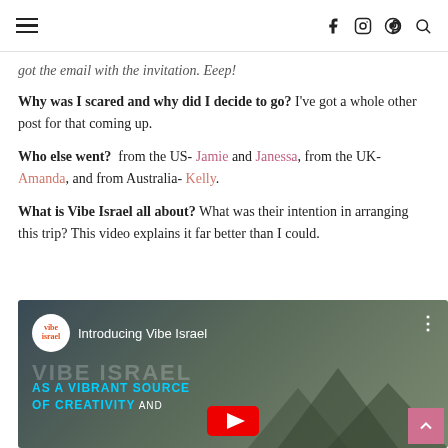Navigation header with hamburger menu and social icons (f, instagram, pinterest, search)
got the email with the invitation. Eeep!
Why was I scared and why did I decide to go? I've got a whole other post for that coming up.
Who else went?  from the US- Jamie and Janessa, from the UK- Amanda, and from Australia- Kelly.
What is Vibe Israel all about? What was their intention in arranging this trip? This video explains it far better than I could.
[Figure (screenshot): YouTube video thumbnail for 'Introducing Vibe Israel' video, showing the Vibe Israel logo, video title, and text 'AS A VIBRANT SOURCE OF CREATIVITY AND' on a teal/green background]